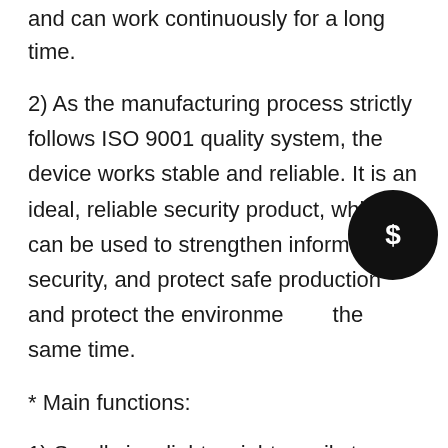and can work continuously for a long time.
2) As the manufacturing process strictly follows ISO 9001 quality system, the device works stable and reliable. It is an ideal, reliable security product, which can be used to strengthen information security, and protect safe production and protect the environment at the same time.
* Main functions:
1) Small size, light weight, easily to operate
2) It can block Bluetooth signal effectively
3) It only shields the Shields the signals from mobile